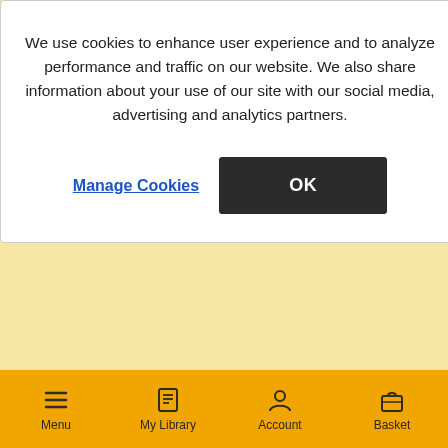We use cookies to enhance user experience and to analyze performance and traffic on our website. We also share information about your use of our site with our social media, advertising and analytics partners.
Manage Cookies
OK
Switch to United States
Stay on United Kingdom
[Figure (screenshot): Bottom navigation bar with Menu, My Library, Account, and Basket icons]